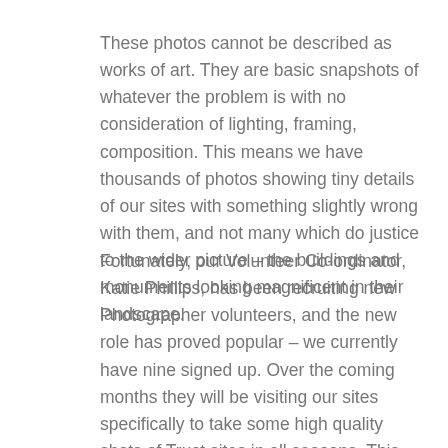These photos cannot be described as works of art. They are basic snapshots of whatever the problem is with no consideration of lighting, framing, composition. This means we have thousands of photos showing tiny details of our sites with something slightly wrong with them, and not many which do justice to the wider picture – the buildings and monuments looking magnificent in their landscape.
Fortunately, our Volunteer Co-ordinator, Katie Phillips, has been recruiting new Photographer volunteers, and the new role has proved popular – we currently have nine signed up. Over the coming months they will be visiting our sites specifically to take some high quality shots of Trust sites in all seasons. This will build up a brilliant resource which can use in our future publicity, on our website and on social media  – to make sure people know why they should come and visit!